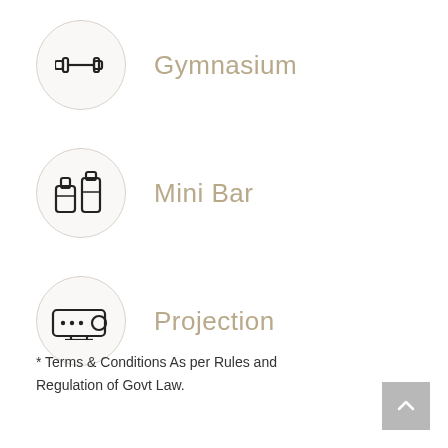Gymnasium
Mini Bar
Projection
* Terms & Conditions As per Rules and Regulation of Govt Law.